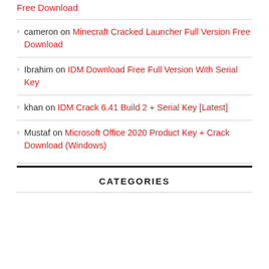Free Download
cameron on Minecraft Cracked Launcher Full Version Free Download
Ibrahim on IDM Download Free Full Version With Serial Key
khan on IDM Crack 6.41 Build 2 + Serial Key [Latest]
Mustaf on Microsoft Office 2020 Product Key + Crack Download (Windows)
CATEGORIES